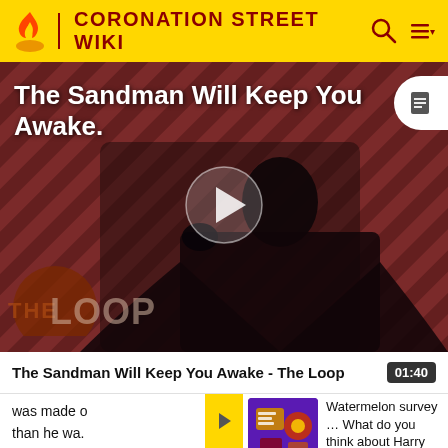CORONATION STREET WIKI
[Figure (screenshot): Video thumbnail for 'The Sandman Will Keep You Awake - The Loop' showing a dark figure in black cape against diagonal striped red-brown background, with THE LOOP logo at bottom left and a play button in center, document icon top right]
The Sandman Will Keep You Awake - The Loop  01:40
was made o... than he wa... At the weddi...
Watermelon survey … What do you think about Harry Styles? TAKE THE SURVEY HERE